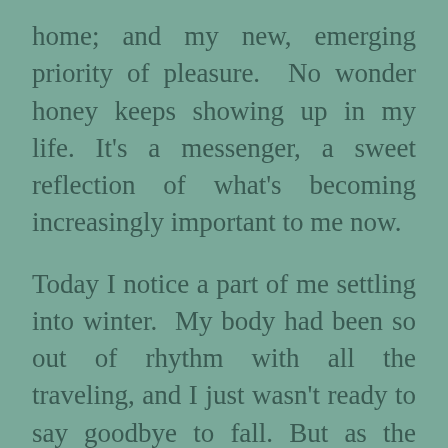home; and my new, emerging priority of pleasure. No wonder honey keeps showing up in my life. It's a messenger, a sweet reflection of what's becoming increasingly important to me now.
Today I notice a part of me settling into winter. My body had been so out of rhythm with all the traveling, and I just wasn't ready to say goodbye to fall. But as the nights get colder, I can feel myself slipping into acceptance. Time moves on. Now in my fifties, I'm trying to come to terms with the fact that I'm closer to the finish line than the starting gate. I find